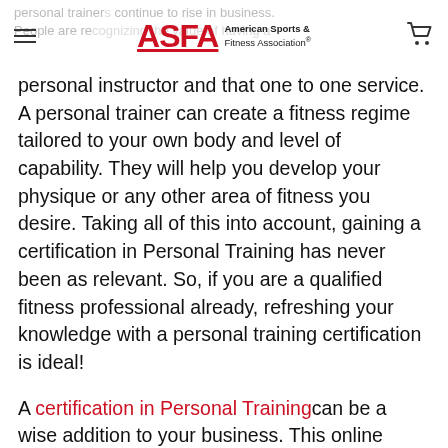ASFA American Sports & Fitness Association
personal instructor and that one to one service. A personal trainer can create a fitness regime tailored to your own body and level of capability. They will help you develop your physique or any other area of fitness you desire. Taking all of this into account, gaining a certification in Personal Training has never been as relevant. So, if you are a qualified fitness professional already, refreshing your knowledge with a personal training certification is ideal!
A certification in Personal Training can be a wise addition to your business. This online qualification will provide you with an extra skill set. It will also provide you with the opportunity to offer a